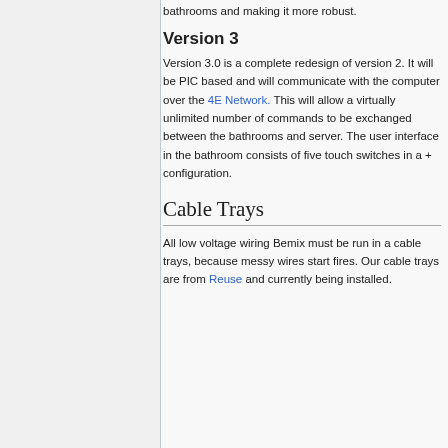bathrooms and making it more robust.
Version 3
Version 3.0 is a complete redesign of version 2. It will be PIC based and will communicate with the computer over the 4E Network. This will allow a virtually unlimited number of commands to be exchanged between the bathrooms and server. The user interface in the bathroom consists of five touch switches in a + configuration.
Cable Trays
All low voltage wiring Bemix must be run in a cable trays, because messy wires start fires. Our cable trays are from Reuse and currently being installed.